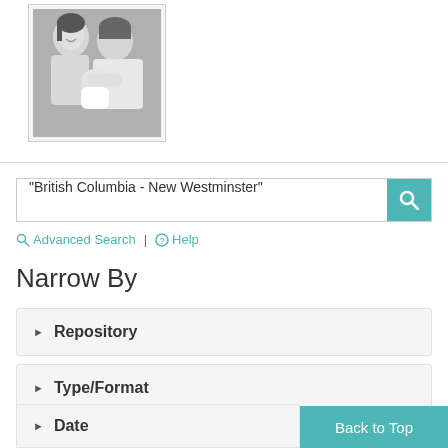[Figure (photo): Black and white photograph of a man and woman with a baby]
"British Columbia - New Westminster"
Advanced Search | Help
Narrow By
Repository
Type/Format
Date
Back to Top